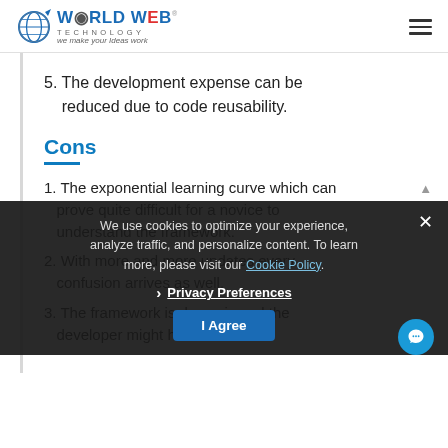[Figure (logo): World Web Technology logo with globe icon and tagline 'we make your Ideas work']
5. The development expense can be reduced due to code reusability.
Cons
1. The exponential learning curve which can prove quite difficult for a novice to understand the framework.
2. With more and more updates every confusion arrives as well.
3. The framework is dynamic and the developer might have to learn everything from scratch every few...
We use cookies to optimize your experience, analyze traffic, and personalize content. To learn more, please visit our Cookie Policy.
Privacy Preferences
I Agree